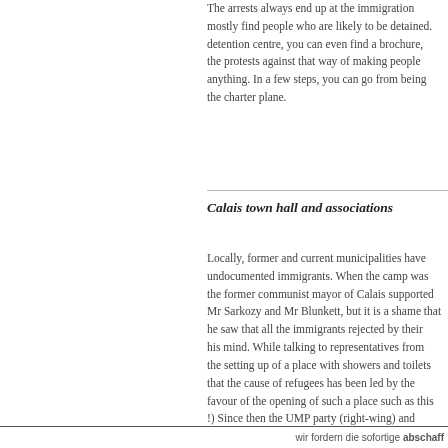The arrests always end up at the immigr... mostly find people who are likely to be d... detention centre, you can even find a br... the protests against that way of making ... anything. In a few steps, you can go fro... the charter plane.
Calais town hall and associati...
Locally, former and current municipalitie... undocumented immigrants. When the ca... the former communist mayor of Calais s... Mr Sarkozy and Mr Blunkett, but it is a s... he saw that all the immigrants rejected b... his mind. While talking to representative... the setting up of a place with showers a... that the cause of refugees has been led... favour of the opening of such a place su... !) Since then the UMP party (right-wing)... Bouchart wants to clean the place in be...
wir fordern die sofortige abschaff...